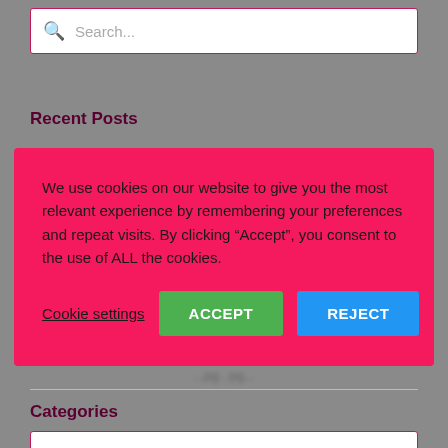[Figure (screenshot): Search box with magnifying glass icon and placeholder text 'Search...']
Recent Posts
how to take time out of your business...
We use cookies on our website to give you the most relevant experience by remembering your preferences and repeat visits. By clicking “Accept”, you consent to the use of ALL the cookies.
Cookie settings   ACCEPT   REJECT
Categories
[Figure (screenshot): Dropdown box with placeholder 'Select Category' and a red chevron arrow on the right]